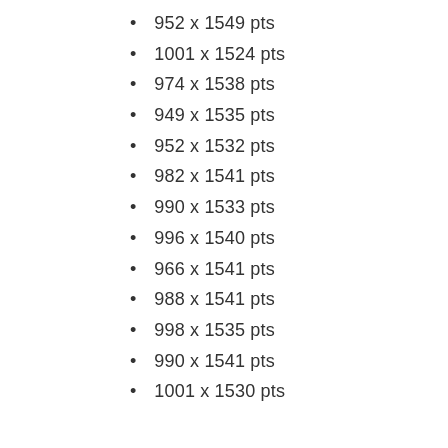952 x 1549 pts
1001 x 1524 pts
974 x 1538 pts
949 x 1535 pts
952 x 1532 pts
982 x 1541 pts
990 x 1533 pts
996 x 1540 pts
966 x 1541 pts
988 x 1541 pts
998 x 1535 pts
990 x 1541 pts
1001 x 1530 pts